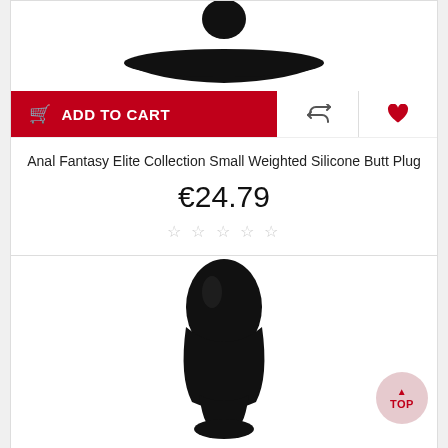[Figure (photo): Top portion of a black silicone butt plug showing the base/flange, cropped at top of card]
ADD TO CART
Anal Fantasy Elite Collection Small Weighted Silicone Butt Plug
€24.79
☆☆☆☆☆
[Figure (photo): Full black silicone butt plug product photo on white background]